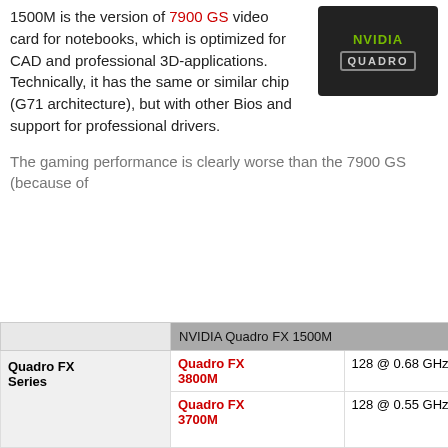[Figure (logo): NVIDIA Quadro logo on dark background]
1500M is the version of 7900 GS video card for notebooks, which is optimized for CAD and professional 3D-applications. Technically, it has the same or similar chip (G71 architecture), but with other Bios and support for professional drivers.
The gaming performance is clearly worse than the 7900 GS (because of
Quadro 1800M
1800M is a up- mid- range professional mobile workstation displays. It is b as the GeForce also equipped graphics memo shipped with pr special BIOS sh
|  | NVIDIA Quadro FX 1500M |  |  | NVIDIA |
| --- | --- | --- | --- | --- |
| Quadro FX Series | Quadro FX 3800M | 128 @ 0.68 GHz | 256 Bit @ 1000 MHz | Quadro 3800M |
|  | Quadro FX 3700M | 128 @ 0.55 GHz | 256 Bit @ 800 MHz | Quadro 3700M |